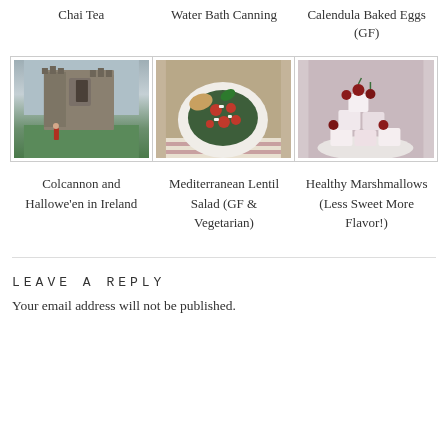Chai Tea
Water Bath Canning
Calendula Baked Eggs (GF)
[Figure (photo): Photo of a stone castle ruin with a person in red standing on green grass in front]
[Figure (photo): Photo of a Mediterranean lentil salad on a white plate with tomatoes and feta cheese]
[Figure (photo): Photo of stacked white marshmallow cubes topped with cherries on a white plate]
Colcannon and Hallowe'en in Ireland
Mediterranean Lentil Salad (GF & Vegetarian)
Healthy Marshmallows (Less Sweet More Flavor!)
LEAVE A REPLY
Your email address will not be published.